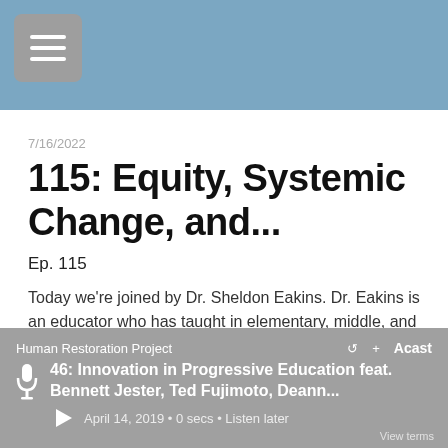[Figure (screenshot): Blue header bar with hamburger menu icon button]
7/16/2022
115: Equity, Systemic Change, and...
Ep. 115
Today we're joined by Dr. Sheldon Eakins. Dr. Eakins is an educator who has taught in elementary, middle, and high school settings, as well as an administrator...
LISTEN NOW
Human Restoration Project
46: Innovation in Progressive Education feat. Bennett Jester, Ted Fujimoto, Deann...
April 14, 2019 • 0 secs • Listen later
View terms